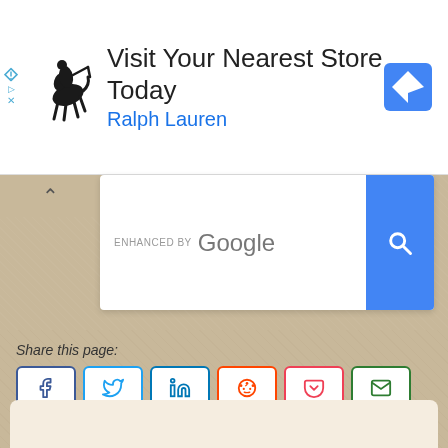[Figure (screenshot): Advertisement banner: Ralph Lauren polo player logo on the left, text 'Visit Your Nearest Store Today' and 'Ralph Lauren' in blue, navigation/directions icon on the right. Ad indicator icons on far left.]
[Figure (screenshot): Google search bar widget with 'ENHANCED BY Google' text and a blue search button with magnifying glass icon. Collapse caret on the left.]
Share this page:
[Figure (infographic): Row of six social media share buttons: Facebook (blue border, f icon), Twitter (light blue border, bird icon), LinkedIn (blue border, in icon), Reddit (orange border, alien icon), Pocket (red border, pocket icon), Email (green border, envelope icon).]
About The Garden Helper
[Figure (illustration): Garden gnome illustration: red pointed hat, white beard, blue outfit, sitting on a wooden planter box.]
The Garden Helper is a free gardening encyclopedia and guides to growing and caring for gardens, plants and flowers. Helping gardeners grow their dreams since 1997. No-dash-here.